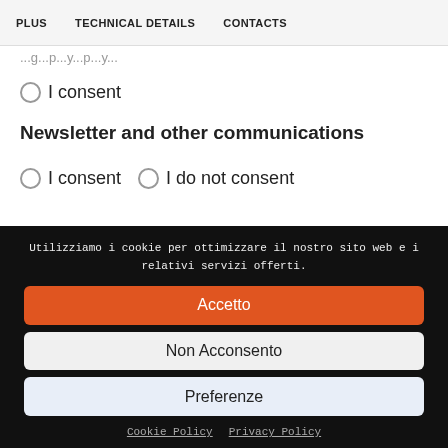PLUS   TECHNICAL DETAILS   CONTACTS
...g...p...y...p...y...
○ I consent
Newsletter and other communications
○ I consent   ○ I do not consent
Utilizziamo i cookie per ottimizzare il nostro sito web e i relativi servizi offerti.
Accetto
Non Acconsento
Preferenze
Cookie Policy   Privacy Policy